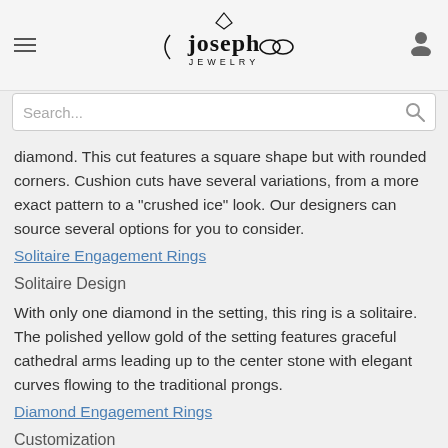Joseph Jewelry
diamond. This cut features a square shape but with rounded corners. Cushion cuts have several variations, from a more exact pattern to a "crushed ice" look. Our designers can source several options for you to consider.
Solitaire Engagement Rings
Solitaire Design
With only one diamond in the setting, this ring is a solitaire. The polished yellow gold of the setting features graceful cathedral arms leading up to the center stone with elegant curves flowing to the traditional prongs.
Diamond Engagement Rings
Customization